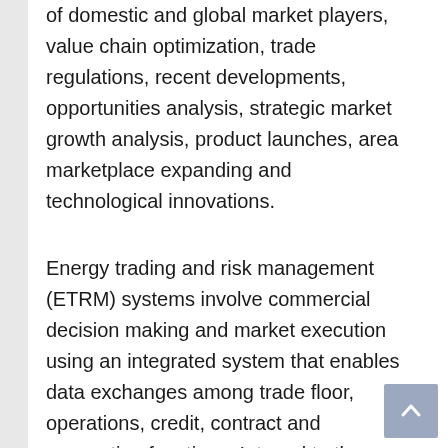of domestic and global market players, value chain optimization, trade regulations, recent developments, opportunities analysis, strategic market growth analysis, product launches, area marketplace expanding and technological innovations.
Energy trading and risk management (ETRM) systems involve commercial decision making and market execution using an integrated system that enables data exchanges among trade floor, operations, credit, contract and accounting functions. Integral to the process are event and trade identification/capture, comprehensive risk management strategies/policies, scheduling/nomination/transportation and